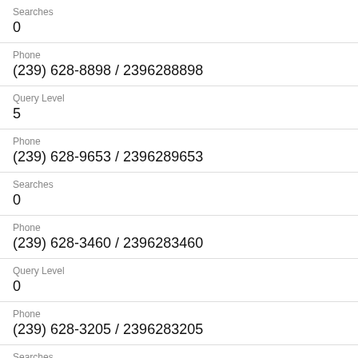Searches
0
Phone
(239) 628-8898 / 2396288898
Query Level
5
Phone
(239) 628-9653 / 2396289653
Searches
0
Phone
(239) 628-3460 / 2396283460
Query Level
0
Phone
(239) 628-3205 / 2396283205
Searches
0
Ph…